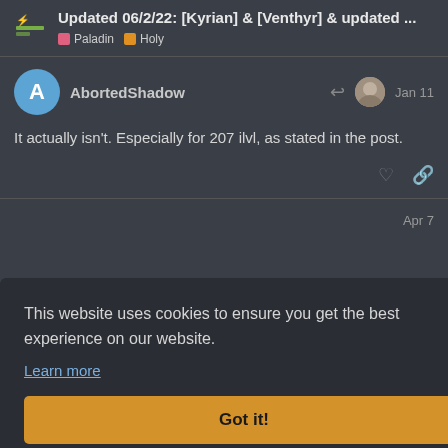Updated 06/2/22: [Kyrian] & [Venthyr] & updated ... | Paladin | Holy
AbortedShadow  Jan 11
It actually isn't. Especially for 207 ilvl, as stated in the post.
Apr 7
This website uses cookies to ensure you get the best experience on our website.
Learn more
Got it!
15 DAYS LATER